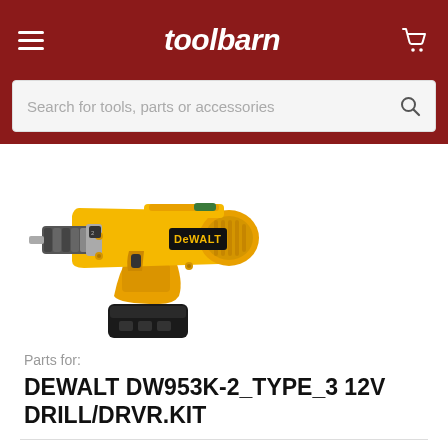toolbarn
[Figure (screenshot): Search bar with placeholder text 'Search for tools, parts or accessories' and a magnifying glass icon on a white background]
[Figure (photo): DeWalt DW953K-2 yellow cordless drill/driver with black chuck and battery, shown at an angle on a white background]
Parts for:
DEWALT DW953K-2_TYPE_3 12V DRILL/DRVR.KIT